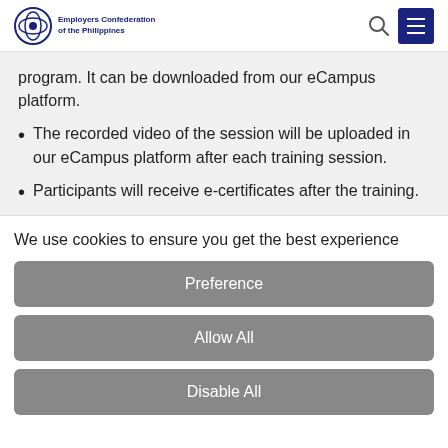Employers Confederation of the Philippines
program. It can be downloaded from our eCampus platform.
The recorded video of the session will be uploaded in our eCampus platform after each training session.
Participants will receive e-certificates after the training.
We use cookies to ensure you get the best experience
Preference
Allow All
Disable All